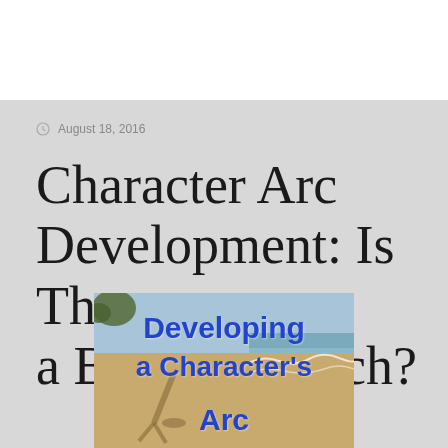August 18, 2016
Character Arc Development: Is There a Best Approach?
[Figure (photo): Beach scene with a shadow of a person on sand near ocean waves, with blue bold text overlay reading 'Developing a Character's Arc']